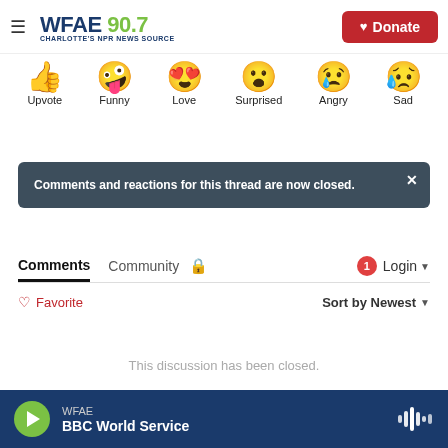WFAE 90.7 Charlotte's NPR News Source | Donate
[Figure (illustration): Row of reaction emoji icons: thumbs up (Upvote), laughing face (Funny), heart-eyes face (Love), surprised face (Surprised), crying/angry face (Angry), sad face (Sad)]
Comments and reactions for this thread are now closed.
Comments   Community   🔒   1   Login ▾
♡ Favorite   Sort by Newest ▾
This discussion has been closed.
WFAE  BBC World Service